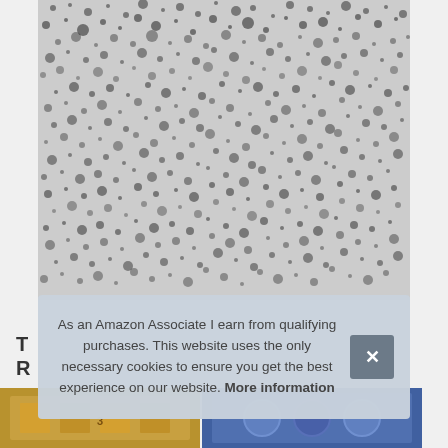[Figure (photo): Close-up photograph of granite stone surface with black and white speckled pattern]
As an Amazon Associate I earn from qualifying purchases. This website uses the only necessary cookies to ensure you get the best experience on our website. More information
[Figure (photo): Partial view of product images at bottom of page, left image appears golden/wooden, right image appears blue]